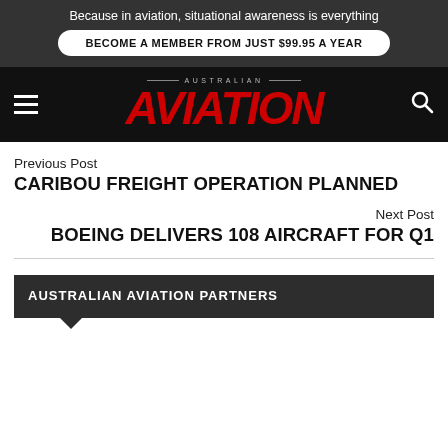Because in aviation, situational awareness is everything
BECOME A MEMBER FROM JUST $99.95 A YEAR
[Figure (logo): Australian Aviation magazine logo with red italic AVIATION text and grey AUSTRALIAN text above]
Previous Post
CARIBOU FREIGHT OPERATION PLANNED
Next Post
BOEING DELIVERS 108 AIRCRAFT FOR Q1
AUSTRALIAN AVIATION PARTNERS